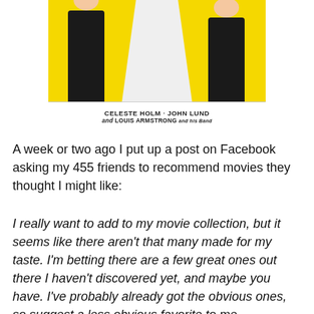[Figure (illustration): Movie poster showing figures in formalwear on yellow background with credits reading CELESTE HOLM · JOHN LUND and LOUIS ARMSTRONG and his Band]
CELESTE HOLM · JOHN LUND
and LOUIS ARMSTRONG and his Band
A week or two ago I put up a post on Facebook asking my 455 friends to recommend movies they thought I might like:
I really want to add to my movie collection, but it seems like there aren't that many made for my taste. I'm betting there are a few great ones out there I haven't discovered yet, and maybe you have. I've probably already got the obvious ones, so suggest a less obvious favorite to me,